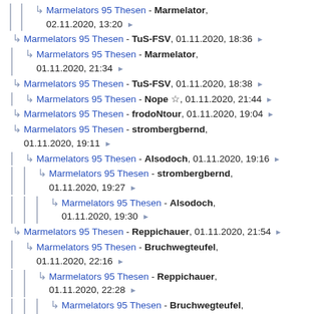Marmelators 95 Thesen - Marmelator, 02.11.2020, 13:20
Marmelators 95 Thesen - TuS-FSV, 01.11.2020, 18:36
Marmelators 95 Thesen - Marmelator, 01.11.2020, 21:34
Marmelators 95 Thesen - TuS-FSV, 01.11.2020, 18:38
Marmelators 95 Thesen - Nope ☆, 01.11.2020, 21:44
Marmelators 95 Thesen - frodoNtour, 01.11.2020, 19:04
Marmelators 95 Thesen - strombergbernd, 01.11.2020, 19:11
Marmelators 95 Thesen - Alsodoch, 01.11.2020, 19:16
Marmelators 95 Thesen - strombergbernd, 01.11.2020, 19:27
Marmelators 95 Thesen - Alsodoch, 01.11.2020, 19:30
Marmelators 95 Thesen - Reppichauer, 01.11.2020, 21:54
Marmelators 95 Thesen - Bruchwegteufel, 01.11.2020, 22:16
Marmelators 95 Thesen - Reppichauer, 01.11.2020, 22:28
Marmelators 95 Thesen - Bruchwegteufel, 02.11.2020, 12:02
Marmelators 95 Thesen - AllBlacks, 02.11.2020, 11:39